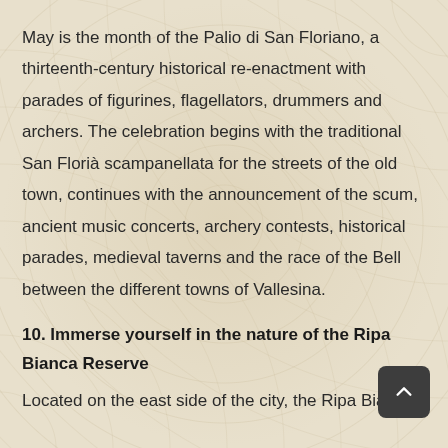May is the month of the Palio di San Floriano, a thirteenth-century historical re-enactment with parades of figurines, flagellators, drummers and archers. The celebration begins with the traditional San Florià scampanellata for the streets of the old town, continues with the announcement of the scum, ancient music concerts, archery contests, historical parades, medieval taverns and the race of the Bell between the different towns of Vallesina.
10. Immerse yourself in the nature of the Ripa Bianca Reserve
Located on the east side of the city, the Ripa Bianca